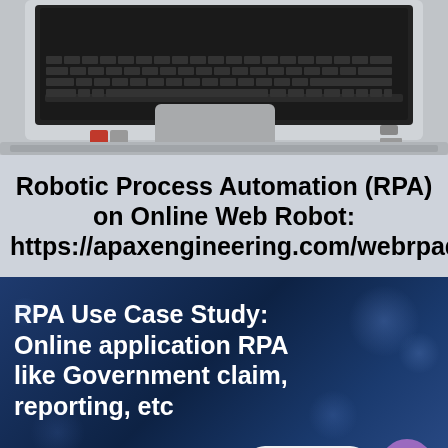[Figure (photo): Laptop computer viewed from above showing keyboard and trackpad on grey surface]
Robotic Process Automation (RPA) on Online Web Robot: https://apaxengineering.com/webrpade
RPA Use Case Study: Online application RPA like Government claim, reporting, etc
Contact us